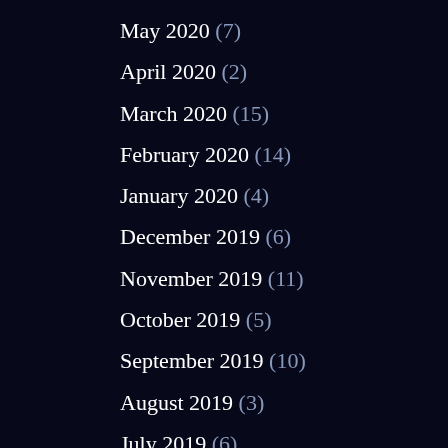May 2020 (7)
April 2020 (2)
March 2020 (15)
February 2020 (14)
January 2020 (4)
December 2019 (6)
November 2019 (11)
October 2019 (5)
September 2019 (10)
August 2019 (3)
July 2019 (6)
June 2019 (7)
May 2019 (7)